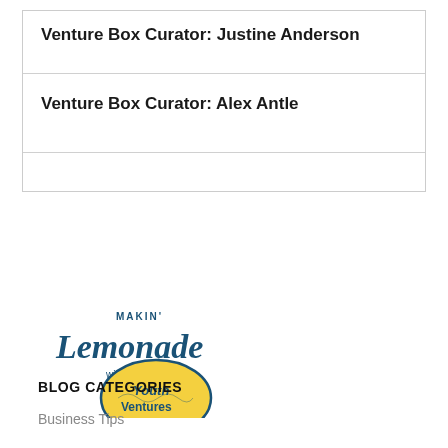Venture Box Curator: Justine Anderson
Venture Box Curator: Alex Antle
[Figure (logo): Makin' Lemonade with Youth Ventures logo — cursive script text 'Makin' Lemonade' in dark teal above a yellow lemon shape containing 'Youth Ventures' text]
BLOG CATEGORIES
Business Tips